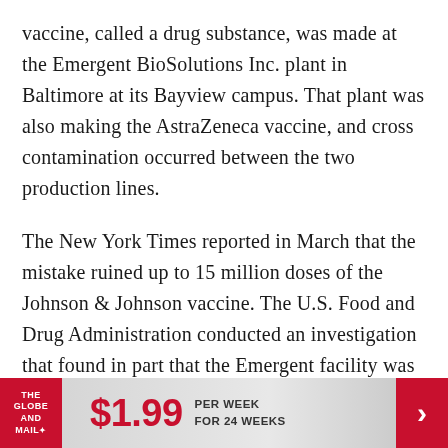vaccine, called a drug substance, was made at the Emergent BioSolutions Inc. plant in Baltimore at its Bayview campus. That plant was also making the AstraZeneca vaccine, and cross contamination occurred between the two production lines.
The New York Times reported in March that the mistake ruined up to 15 million doses of the Johnson & Johnson vaccine. The U.S. Food and Drug Administration conducted an investigation that found in part that the Emergent facility was “not maintained in a clean and sanitary condition” and the company didn’t properly investigate the cross-contamination.
[Figure (other): Advertisement banner for The Globe and Mail: $1.99 per week for 24 weeks, with red logo on left and red arrow on right]